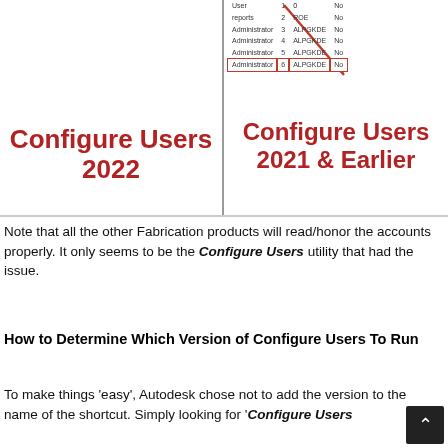[Figure (screenshot): Two-panel screenshot showing Configure Users 2022 label on the left and Configure Users 2021 & Earlier label on the right, with a table excerpt and red arrow pointing to a highlighted row on the right panel top.]
Note that all the other Fabrication products will read/honor the accounts properly. It only seems to be the Configure Users utility that had the issue.
How to Determine Which Version of Configure Users To Run
To make things 'easy', Autodesk chose not to add the version to the name of the shortcut. Simply looking for 'Configure Users